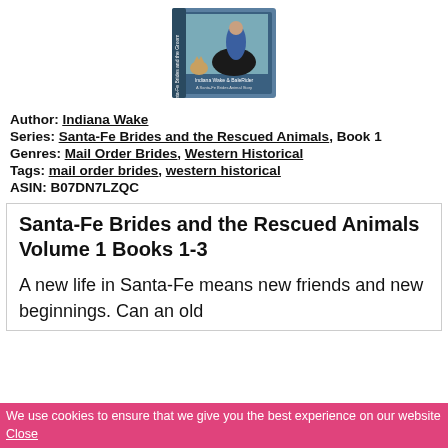[Figure (photo): Book cover image showing a boxed set with a woman in blue and a horse, cats visible, titled with Indiana Wake & Bale Rider]
Author: Indiana Wake
Series: Santa-Fe Brides and the Rescued Animals, Book 1
Genres: Mail Order Brides, Western Historical
Tags: mail order brides, western historical
ASIN: B07DN7LZQC
Santa-Fe Brides and the Rescued Animals Volume 1 Books 1-3
A new life in Santa-Fe means new friends and new beginnings. Can an old
We use cookies to ensure that we give you the best experience on our website Close